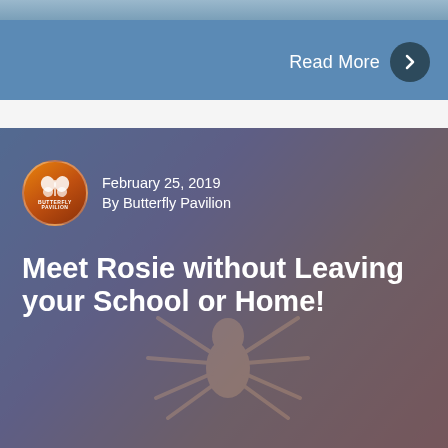[Figure (screenshot): Blue banner section with 'Read More' text and a dark circular arrow button on the right]
Read More
[Figure (photo): Blog card with blurred tarantula spider background image overlaid with blue-purple tint, showing Butterfly Pavilion logo, date, author, and article title]
February 25, 2019
By Butterfly Pavilion
Meet Rosie without Leaving your School or Home!